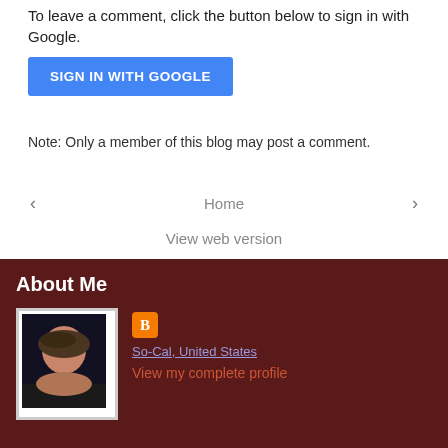To leave a comment, click the button below to sign in with Google.
[Figure (other): Blue 'SIGN IN WITH GOOGLE' button]
Note: Only a member of this blog may post a comment.
< Home >
View web version
About Me
[Figure (photo): Profile photo of a woman wearing a hat, dark background]
So-Cal, United States
View my complete profile